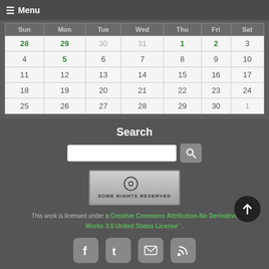☰ Menu
| Sun | Mon | Tue | Wed | Thu | Fri | Sat |
| --- | --- | --- | --- | --- | --- | --- |
| 28 | 29 | 30 | 31 | 1 | 2 | 3 |
| 4 | 5 | 6 | 7 | 8 | 9 | 10 |
| 11 | 12 | 13 | 14 | 15 | 16 | 17 |
| 18 | 19 | 20 | 21 | 22 | 23 | 24 |
| 25 | 26 | 27 | 28 | 29 | 30 | 1 |
Search
[Figure (logo): Creative Commons Some Rights Reserved badge]
This work is licensed under a Creative Commons Attribution-No Derivative Works 3.0 United States License.
[Figure (other): Social media icons: Facebook, Twitter, Email, RSS]